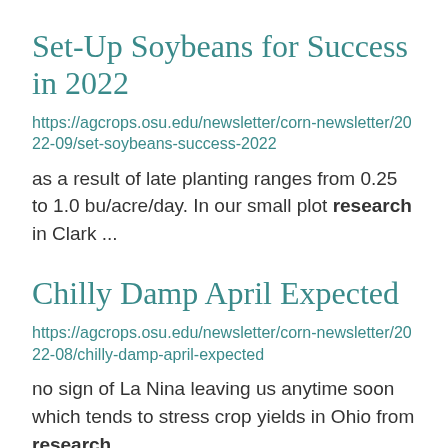Set-Up Soybeans for Success in 2022
https://agcrops.osu.edu/newsletter/corn-newsletter/2022-09/set-soybeans-success-2022
as a result of late planting ranges from 0.25 to 1.0 bu/acre/day. In our small plot research in Clark ...
Chilly Damp April Expected
https://agcrops.osu.edu/newsletter/corn-newsletter/2022-08/chilly-damp-april-expected
no sign of La Nina leaving us anytime soon which tends to stress crop yields in Ohio from research ...